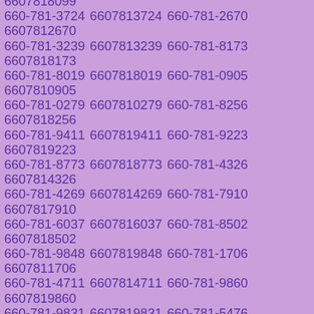660-781-9242 6607819242 660-781-3846 6607813846 660-781-8003 6607818003 660-781-0288 6607810288 660-781-0777 6607810777 660-781-4602 6607814602 660-781-6254 6607816254 660-781-4550 6607814550 660-781-9104 6607819104 660-781-8099 6607818099 660-781-3724 6607813724 660-781-2670 6607812670 660-781-3239 6607813239 660-781-8173 6607818173 660-781-8019 6607818019 660-781-0905 6607810905 660-781-0279 6607810279 660-781-8256 6607818256 660-781-9411 6607819411 660-781-9223 6607819223 660-781-8773 6607818773 660-781-4326 6607814326 660-781-4269 6607814269 660-781-7910 6607817910 660-781-6037 6607816037 660-781-8502 6607818502 660-781-9848 6607819848 660-781-1706 6607811706 660-781-4711 6607814711 660-781-9860 6607819860 660-781-9831 6607819831 660-781-5476 6607815476 660-781-6197 6607816197 660-781-3350 6607813350 660-781-8270 6607818270 660-781-3904 6607813904 660-781-0738 6607810738 660-781-4849 6607814849 660-781-6062 6607816062 660-781-6318 6607816318